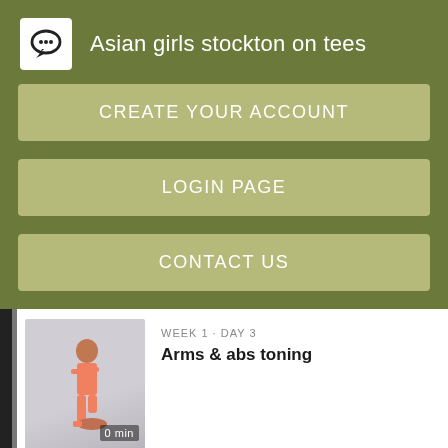Asian girls stockton on tees
CREATE YOUR ACCOUNT
LOGIN PAGE
CONTACT US
[Figure (screenshot): Mobile app card showing a fitness workout: Week 1 Day 3, Arms & abs toning, with a woman in pink workout gear kneeling on a mat, and a time label partially visible showing '0 min']
Peggy Glenn is an accidental, grateful and joyful actor. Look At Her Now Book All At...